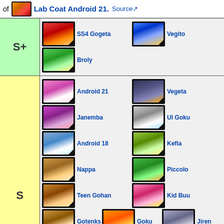of Lab Coat Android 21. Source
| Tier | Characters |
| --- | --- |
| S+ | SS4 Gogeta, Vegito, Broly |
| S | Android 21, Vegeta, Janemba, UI Goku, Android 18, Kefla, Nappa, Piccolo, Teen Gohan, Kid Buu, Gotenks, Goku, Jiren, SSB Vegeta, SSB Goku, Majin Buu, Beerus, Tien, Bardock, Hit |